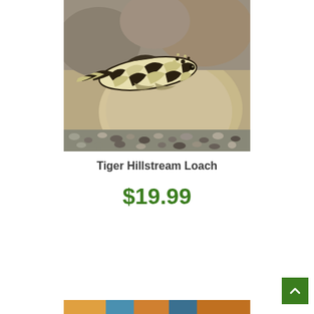[Figure (photo): Close-up photograph of a Tiger Hillstream Loach fish resting on a smooth tan/beige rock surrounded by small white and dark pebbles. The fish has a distinctive black and cream reticulated/netted pattern on its body.]
Tiger Hillstream Loach
$19.99
[Figure (photo): Partial view of another product photo at the very bottom of the page, showing colorful aquatic content.]